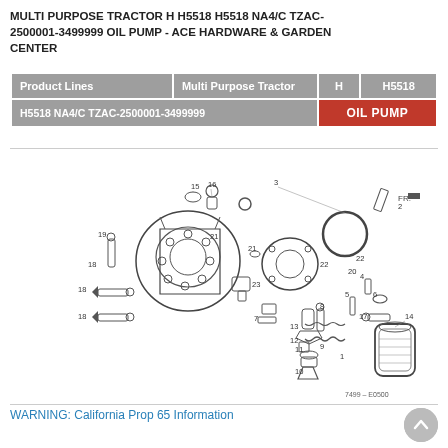MULTI PURPOSE TRACTOR H H5518 H5518 NA4/C TZAC-2500001-3499999 OIL PUMP - ACE HARDWARE & GARDEN CENTER
| Product Lines | Multi Purpose Tractor | H | H5518 |
| --- | --- | --- | --- |
| H5518 NA4/C TZAC-2500001-3499999 |  | OIL PUMP |  |
[Figure (engineering-diagram): Exploded parts diagram of oil pump assembly for Honda H5518 tractor, showing numbered components including pump body, gears, seals, bolts, springs, and oil filter. Part numbers labeled 2-23 visible on diagram. Reference code 7499-E0500 at bottom right.]
WARNING: California Prop 65 Information